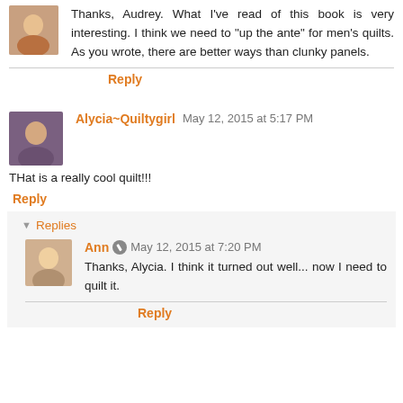Thanks, Audrey. What I've read of this book is very interesting. I think we need to "up the ante" for men's quilts. As you wrote, there are better ways than clunky panels.
Reply
Alycia~Quiltygirl  May 12, 2015 at 5:17 PM
THat is a really cool quilt!!!
Reply
Replies
Ann  May 12, 2015 at 7:20 PM
Thanks, Alycia. I think it turned out well... now I need to quilt it.
Reply